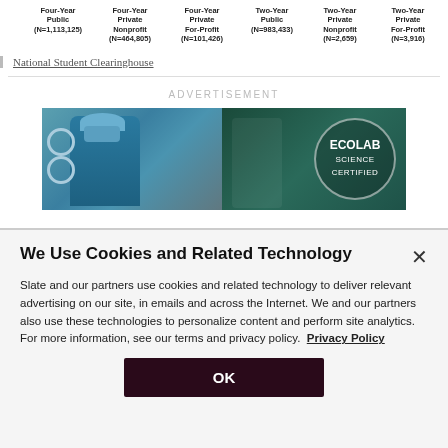| Four-Year Public (N=1,113,125) | Four-Year Private Nonprofit (N=464,805) | Four-Year Private For-Profit (N=101,426) | Two-Year Public (N=983,433) | Two-Year Private Nonprofit (N=2,659) | Two-Year Private For-Profit (N=3,916) |
| --- | --- | --- | --- | --- | --- |
National Student Clearinghouse
ADVERTISEMENT
[Figure (photo): Advertisement banner showing medical professionals in a clinical setting with text 'ECOLAB SCIENCE CERTIFIED']
We Use Cookies and Related Technology
Slate and our partners use cookies and related technology to deliver relevant advertising on our site, in emails and across the Internet. We and our partners also use these technologies to personalize content and perform site analytics. For more information, see our terms and privacy policy.  Privacy Policy